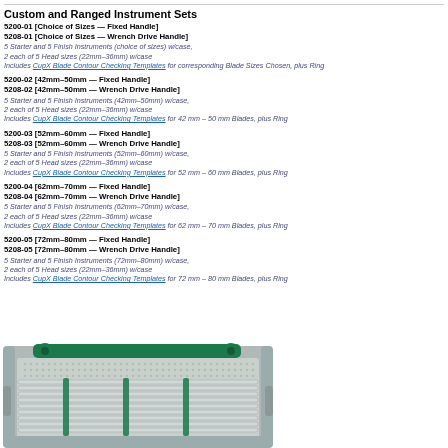Custom and Ranged Instrument Sets
5200-01 [Choice of Sizes — Fixed Handle]
5208-01 [Choice of Sizes — Wrench Drive Handle]
5 Starter and 5 Finish Instruments (choice of sizes) w/case,
2 each of 5 Head sizes (22mm–36mm) w/case
Includes CupX Blade Contour Checking Templates for corresponding Blade Sizes Chosen, plus Ring
5200-02 [42mm–50mm — Fixed Handle]
5208-02 [42mm–50mm — Wrench Drive Handle]
5 Starter and 5 Finish Instruments (42mm–50mm) w/case,
2 each of 5 Head sizes (22mm–36mm) w/case
Includes CupX Blade Contour Checking Templates for 42 mm – 50 mm Blades, plus Ring
5200-03 [52mm–60mm — Fixed Handle]
5208-03 [52mm–60mm — Wrench Drive Handle]
5 Starter and 5 Finish Instruments (52mm–60mm) w/case,
2 each of 5 Head sizes (22mm–36mm) w/case
Includes CupX Blade Contour Checking Templates for 52 mm – 60 mm Blades, plus Ring
5200-04 [62mm–70mm — Fixed Handle]
5208-04 [62mm–70mm — Wrench Drive Handle]
5 Starter and 5 Finish Instruments (62mm–70mm) w/case,
2 each of 5 Head sizes (22mm–36mm) w/case
Includes CupX Blade Contour Checking Templates for 62 mm – 70 mm Blades, plus Ring
5200-05 [72mm–80mm — Fixed Handle]
5208-05 [72mm–80mm — Wrench Drive Handle]
5 Starter and 5 Finish Instruments (72mm–80mm) w/case,
2 each of 5 Head sizes (22mm–36mm) w/case
Includes CupX Blade Contour Checking Templates for 72 mm – 80 mm Blades, plus Ring
[Figure (photo): Surgical instrument tray with green handle frame containing multiple long thin metal instruments arranged in rows, silver case visible]